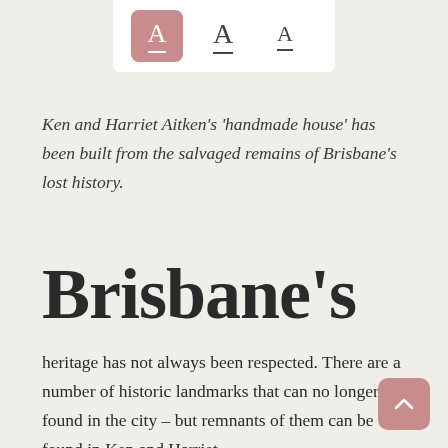[Figure (screenshot): Font size picker UI with three letter A buttons. The leftmost A is selected with a pink/rose background, the middle A and right A are unselected in grey on white background.]
Ken and Harriet Aitken's 'handmade house' has been built from the salvaged remains of Brisbane's lost history.
Brisbane's
heritage has not always been respected. There are a number of historic landmarks that can no longer be found in the city – but remnants of them can be found in Ken and Harriet